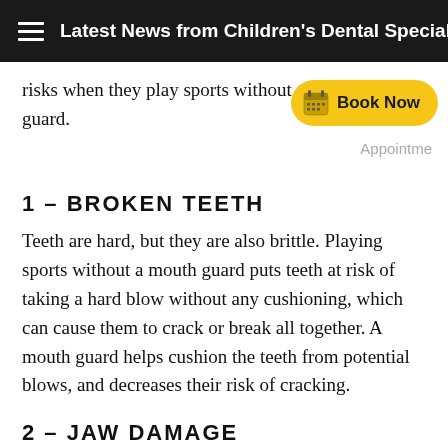Latest News from Children's Dental Specialties
risks when they play sports without a mouth guard.
[Figure (other): Book Now button with calendar icon]
Appointme
1 – BROKEN TEETH
Teeth are hard, but they are also brittle. Playing sports without a mouth guard puts teeth at risk of taking a hard blow without any cushioning, which can cause them to crack or break all together. A mouth guard helps cushion the teeth from potential blows, and decreases their risk of cracking.
2 – JAW DAMAGE